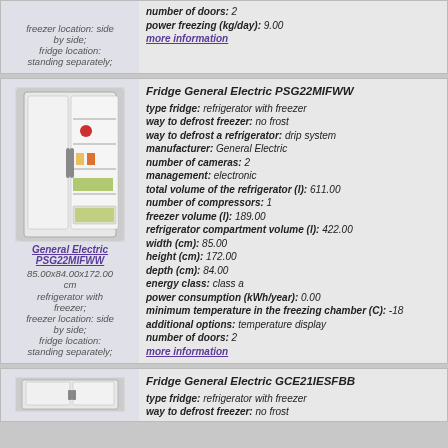freezer location: side by side; fridge location: standing separately;
number of doors: 2
power freezing (kg/day): 9.00
more information
[Figure (photo): Photo of General Electric PSG22MIFWW refrigerator (side-by-side fridge), open door view]
General Electric PSG22MIFWW
85.00x84.00x172.00 cm
refrigerator with freezer;
freezer location: side by side;
fridge location: standing separately;
Fridge General Electric PSG22MIFWW
type fridge: refrigerator with freezer
way to defrost freezer: no frost
way to defrost a refrigerator: drip system
manufacturer: General Electric
number of cameras: 2
management: electronic
total volume of the refrigerator (l): 611.00
number of compressors: 1
freezer volume (l): 189.00
refrigerator compartment volume (l): 422.00
width (cm): 85.00
height (cm): 172.00
depth (cm): 84.00
energy class: class a
power consumption (kWh/year): 0.00
minimum temperature in the freezing chamber (C): -18
additional options: temperature display
number of doors: 2
more information
[Figure (photo): Photo of General Electric GCE21IESFBB refrigerator (side-by-side)]
Fridge General Electric GCE21IESFBB
type fridge: refrigerator with freezer
way to defrost freezer: no frost
way to defrost a refrigerator: drip system